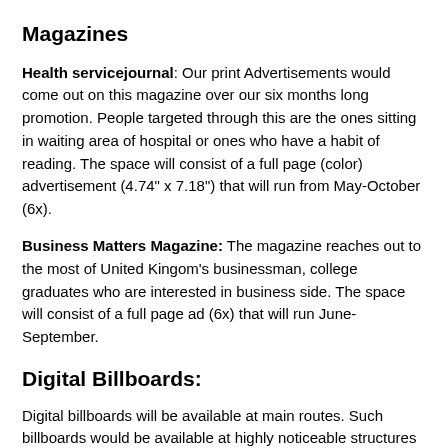Magazines
Health servicejournal: Our print Advertisements would come out on this magazine over our six months long promotion. People targeted through this are the ones sitting in waiting area of hospital or ones who have a habit of reading. The space will consist of a full page (color) advertisement (4.74" x 7.18") that will run from May-October (6x).
Business Matters Magazine: The magazine reaches out to the most of United Kingom's businessman, college graduates who are interested in business side. The space will consist of a full page ad (6x) that will run June-September.
Digital Billboards:
Digital billboards will be available at main routes. Such billboards would be available at highly noticeable structures to pass out our marketing promotion and message to a vast reach of drivers, those driving and shopping at a high pace. These billboards will